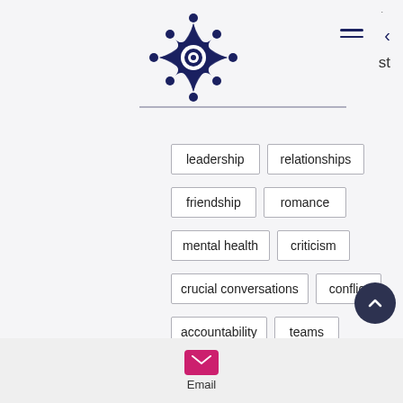[Figure (logo): Dark navy blue star/mandala-style logo with concentric circle in center and small circles at cardinal and diagonal points]
st
leadership
relationships
friendship
romance
mental health
criticism
crucial conversations
conflict
accountability
teams
boundaries
growth
identity
Email